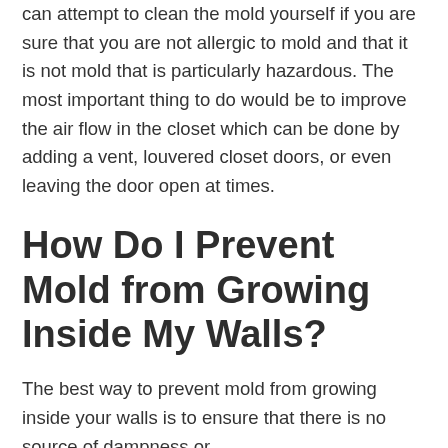can attempt to clean the mold yourself if you are sure that you are not allergic to mold and that it is not mold that is particularly hazardous. The most important thing to do would be to improve the air flow in the closet which can be done by adding a vent, louvered closet doors, or even leaving the door open at times.
How Do I Prevent Mold from Growing Inside My Walls?
The best way to prevent mold from growing inside your walls is to ensure that there is no source of dampness or